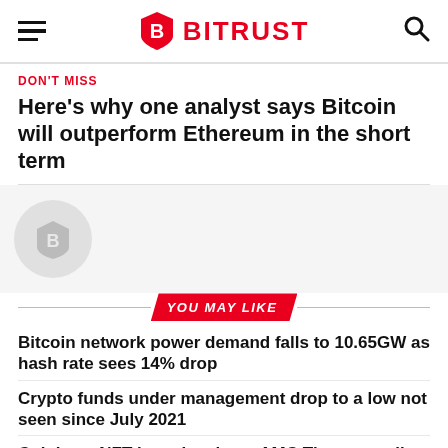BITRUST
DON'T MISS
Here's why one analyst says Bitcoin will outperform Ethereum in the short term
[Figure (logo): Bitrust logo circle placeholder image area]
YOU MAY LIKE
Bitcoin network power demand falls to 10.65GW as hash rate sees 14% drop
Crypto funds under management drop to a low not seen since July 2021
Coinbase NFT launches beta, AMC Theatres rolls out SHIB and DOGE payments, and Blockchain.com eyes IPO: Hodler's Digest